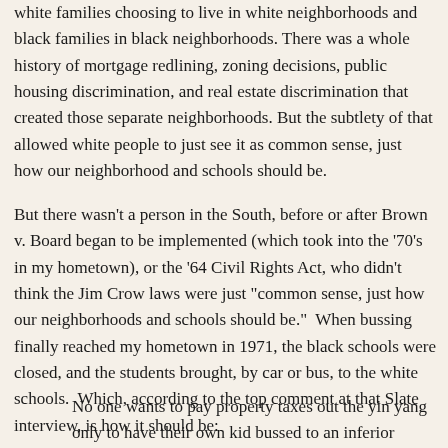white families choosing to live in white neighborhoods and black families in black neighborhoods. There was a whole history of mortgage redlining, zoning decisions, public housing discrimination, and real estate discrimination that created those separate neighborhoods. But the subtlety of that allowed white people to just see it as common sense, just how our neighborhood and schools should be.
But there wasn't a person in the South, before or after Brown v. Board began to be implemented (which took into the '70's in my hometown), or the '64 Civil Rights Act, who didn't think the Jim Crow laws were just "common sense, just how our neighborhoods and schools should be."  When bussing finally reached my hometown in 1971, the black schools were closed, and the students brought, by car or bus, to the white schools.  Which, according to the top comment at that Slate interview, is how it should be:
No one wants to pay property taxes out the yin yang only to have their own kid bussed to an inferior school across town while some poor kid gets bussed to the